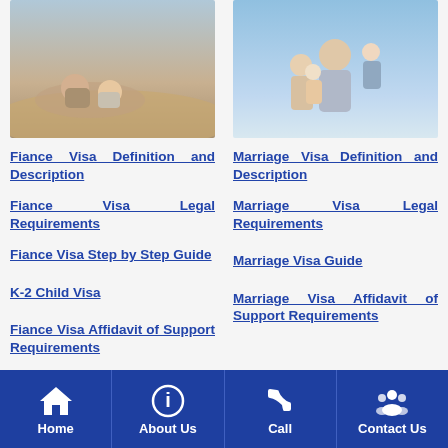[Figure (photo): Couple lying on beach, man and woman smiling at each other]
[Figure (photo): Family of four smiling together outdoors, mother, father, and two children]
Fiance Visa Definition and Description
Marriage Visa Definition and Description
Fiance Visa Legal Requirements
Marriage Visa Legal Requirements
Fiance Visa Step by Step Guide
Marriage Visa Guide
K-2 Child Visa
Marriage Visa Affidavit of Support Requirements
Fiance Visa Affidavit of Support Requirements
Home  About Us  Call  Contact Us